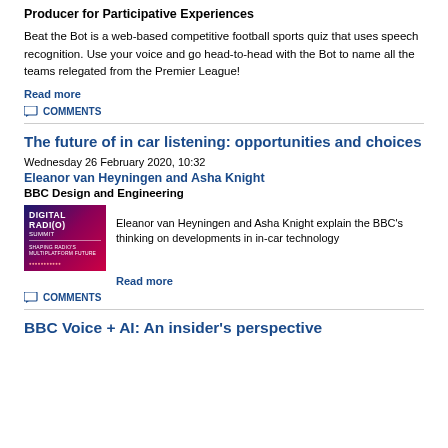Producer for Participative Experiences
Beat the Bot is a web-based competitive football sports quiz that uses speech recognition. Use your voice and go head-to-head with the Bot to name all the teams relegated from the Premier League!
Read more
COMMENTS
The future of in car listening: opportunities and choices
Wednesday 26 February 2020, 10:32
Eleanor van Heyningen and Asha Knight
BBC Design and Engineering
[Figure (photo): Digital Radio Summit - Shaping Radio's Multiplatform Future event image with dark purple/pink gradient background]
Eleanor van Heyningen and Asha Knight explain the BBC's thinking on developments in in-car technology
Read more
COMMENTS
BBC Voice + AI: An insider's perspective